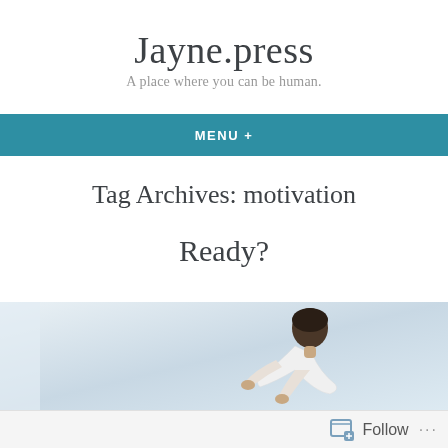Jayne.press
A place where you can be human.
MENU +
Tag Archives: motivation
Ready?
[Figure (photo): Person bending forward, appearing to be in motion or stretching, against a light background]
Follow ...